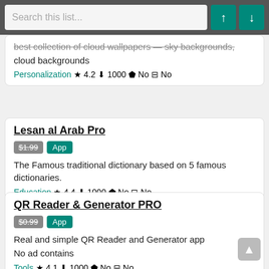Search this list...
best collection of cloud wallpapers - sky backgrounds, cloud backgrounds | Personalization ★ 4.2 ↓ 1000 ⊕ No 🛒 No
Lesan al Arab Pro | $1.99 App | The Famous traditional dictionary based on 5 famous dictionaries. | Education ★ 4.4 ↓ 1000 ⊕ No 🛒 No
QR Reader & Generator PRO | $0.99 App | Real and simple QR Reader and Generator app No ad contains | Tools ★ 4.1 ↓ 1000 ⊕ No 🛒 No